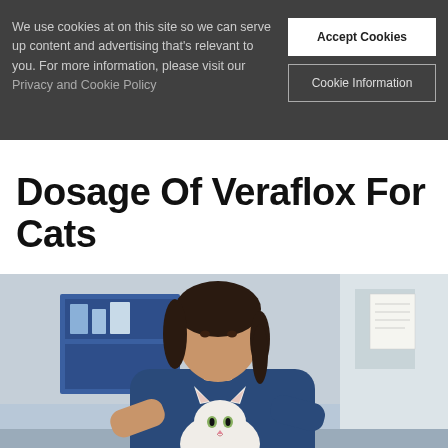We use cookies at on this site so we can serve up content and advertising that's relevant to you. For more information, please visit our Privacy and Cookie Policy
Accept Cookies
Cookie Information
Dosage Of Veraflox For Cats
[Figure (photo): A veterinarian in blue scrubs examining a white cat in a veterinary clinic setting.]